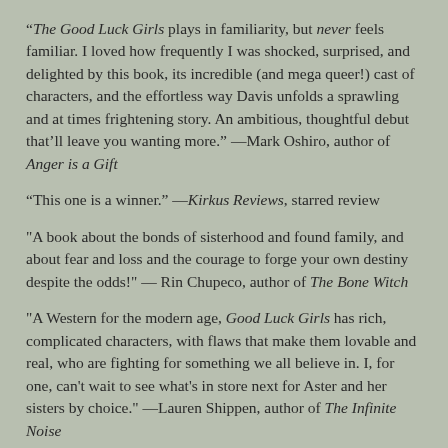“The Good Luck Girls plays in familiarity, but never feels familiar. I loved how frequently I was shocked, surprised, and delighted by this book, its incredible (and mega queer!) cast of characters, and the effortless way Davis unfolds a sprawling and at times frightening story. An ambitious, thoughtful debut that’ll leave you wanting more.” —Mark Oshiro, author of Anger is a Gift
“This one is a winner.” —Kirkus Reviews, starred review
"A book about the bonds of sisterhood and found family, and about fear and loss and the courage to forge your own destiny despite the odds!" — Rin Chupeco, author of The Bone Witch
"A Western for the modern age, Good Luck Girls has rich, complicated characters, with flaws that make them lovable and real, who are fighting for something we all believe in. I, for one, can't wait to see what's in store next for Aster and her sisters by choice." —Lauren Shippen, author of The Infinite Noise
“Perfect for fans of Leigh Bardugo's Six of Crows and Margaret A... The Handmaid's Tale. ...Teen readers will devour this romp set in a